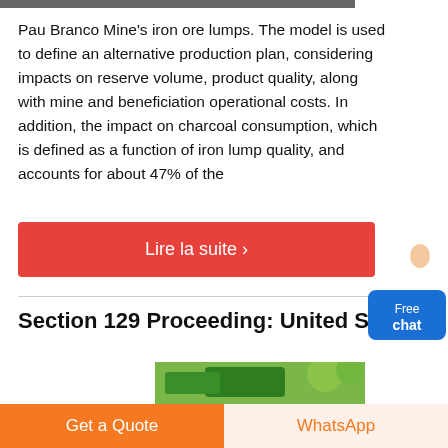[Figure (photo): Partial top image strip, dark/gray, cropped at top of page]
Pau Branco Mine's iron ore lumps. The model is used to define an alternative production plan, considering impacts on reserve volume, product quality, along with mine and beneficiation operational costs. In addition, the impact on charcoal consumption, which is defined as a function of iron lump quality, and accounts for about 47% of the
[Figure (other): Free chat button widget with avatar figure on right side]
Lire la suite ›
Section 129 Proceeding: United States
[Figure (photo): Partial photo of green machinery/vehicle outdoors]
Get a Quote
WhatsApp